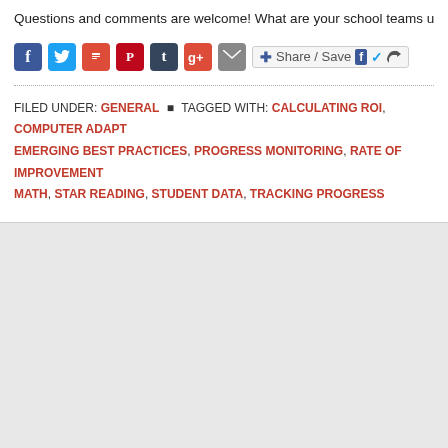Questions and comments are welcome! What are your school teams using to docu
[Figure (other): Social sharing buttons bar: Facebook, Twitter, Print, Pinterest, Tumblr, Google+, Email, and Share/Save button]
FILED UNDER: GENERAL • TAGGED WITH: CALCULATING ROI, COMPUTER ADAPT EMERGING BEST PRACTICES, PROGRESS MONITORING, RATE OF IMPROVEMENT MATH, STAR READING, STUDENT DATA, TRACKING PROGRESS
Return to top of page